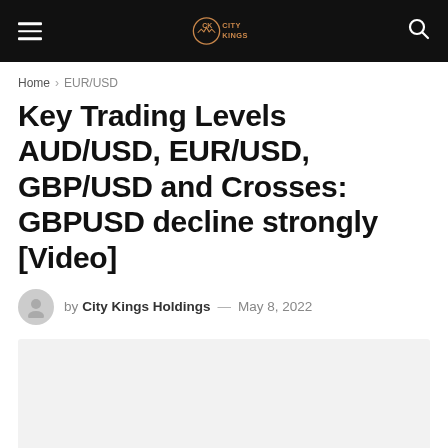City Kings Holdings — navigation header with logo, hamburger menu, and search icon
Home › EUR/USD
Key Trading Levels AUD/USD, EUR/USD, GBP/USD and Crosses: GBPUSD decline strongly [Video]
by City Kings Holdings — May 8, 2022
[Figure (other): Video embed placeholder area (light grey rectangle)]